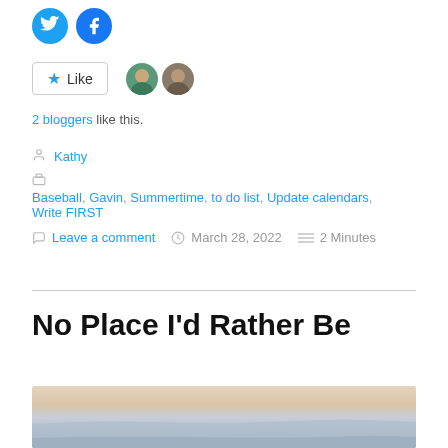[Figure (illustration): Twitter and Facebook circular social share icons in blue]
[Figure (illustration): Like button with star icon and two blogger avatar thumbnails]
2 bloggers like this.
Kathy
Baseball, Gavin, Summertime, to do list, Update calendars, Write FIRST
Leave a comment   March 28, 2022   2 Minutes
No Place I'd Rather Be
[Figure (photo): Landscape photo of a calm seascape or lakeside at dusk with soft pastel sky]